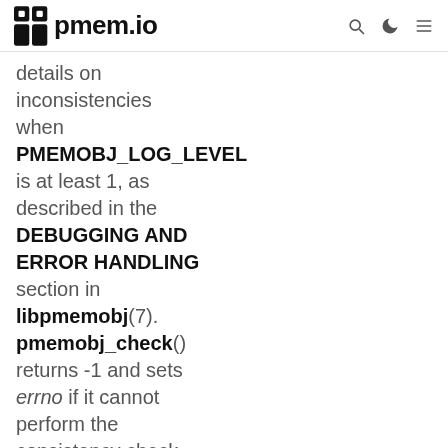pmem.io
details on inconsistencies when PMEMOBJ_LOG_LEVEL is at least 1, as described in the DEBUGGING AND ERROR HANDLING section in libpmemobj(7). pmemobj_check() returns -1 and sets errno if it cannot perform the consistency check due to other errors.